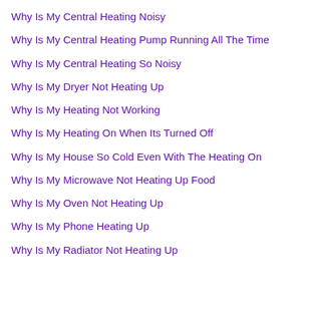Why Is My Central Heating Noisy
Why Is My Central Heating Pump Running All The Time
Why Is My Central Heating So Noisy
Why Is My Dryer Not Heating Up
Why Is My Heating Not Working
Why Is My Heating On When Its Turned Off
Why Is My House So Cold Even With The Heating On
Why Is My Microwave Not Heating Up Food
Why Is My Oven Not Heating Up
Why Is My Phone Heating Up
Why Is My Radiator Not Heating Up